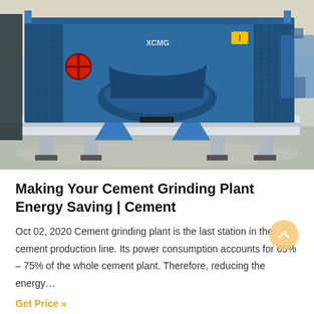[Figure (photo): A large blue industrial cement grinding machine / crusher on a factory floor with a light grey concrete floor and warehouse interior visible in the background.]
Making Your Cement Grinding Plant Energy Saving | Cement
Oct 02, 2020 Cement grinding plant is the last station in the cement production line. Its power consumption accounts for 65% – 75% of the whole cement plant. Therefore, reducing the energy…
Get Price »